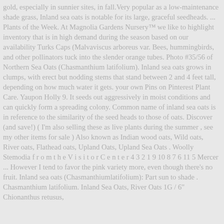gold, especially in sunnier sites, in fall.Very popular as a low-maintenance shade grass, Inland sea oats is notable for its large, graceful seedheads. ... Plants of the Week. At Magnolia Gardens Nursery™ we like to highlight inventory that is in high demand during the season based on our availability Turks Caps (Malvaviscus arboreus var. Bees, hummingbirds, and other pollinators tuck into the slender orange tubes. Photo #35/56 of Northern Sea Oats (Chasmanthium latifolium). Inland sea oats grows in clumps, with erect but nodding stems that stand between 2 and 4 feet tall, depending on how much water it gets. your own Pins on Pinterest Plant Care. Yaupon Holly 9. It seeds out aggressively in moist conditions and can quickly form a spreading colony. Common name of inland sea oats is in reference to the similarity of the seed heads to those of oats. Discover (and save!) ( I'm also selling these as live plants during the summer , see my other items for sale ) Also known as Indian wood oats, Wild oats, River oats, Flathead oats, Upland Oats, Upland Sea Oats . Woolly Stemodia f r o m t h e V i s i t o r C e n t e r 4 3 2 1 9 10 8 7 6 11 5 Mercer ... However I tend to favor the pink variety more, even though there's no fruit. Inland sea oats (Chasmanthiumlatifolium): Part sun to shade . Chasmanthium latifolium. Inland Sea Oats, River Oats 1G / 6" Chionanthus retusus,